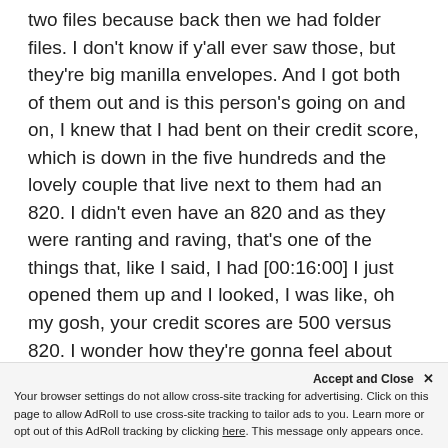two files because back then we had folder files. I don't know if y'all ever saw those, but they're big manilla envelopes. And I got both of them out and is this person's going on and on, I knew that I had bent on their credit score, which is down in the five hundreds and the lovely couple that live next to them had an 820. I didn't even have an 820 and as they were ranting and raving, that's one of the things that, like I said, I had [00:16:00] I just opened them up and I looked, I was like, oh my gosh, your credit scores are 500 versus 820. I wonder how they're gonna feel about living next to you. Yeah. And then I called my company and
said, you're gonna fire me. But I joke ab...
Accept and Close ×
Your browser settings do not allow cross-site tracking for advertising. Click on this page to allow AdRoll to use cross-site tracking to tailor ads to you. Learn more or opt out of this AdRoll tracking by clicking here. This message only appears once.